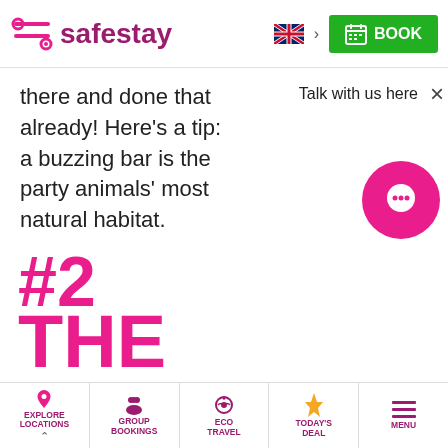safestay — BOOK
there and done that already! Here's a tip: a buzzing bar is the party animals' most natural habitat.
Talk with us here ×
#2
THE
EXPLORE LOCATIONS | GROUP BOOKINGS | ECO TRAVEL | TODAY'S DEAL | MENU